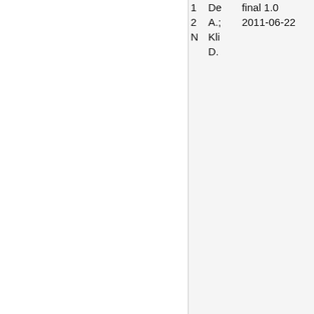| # | Name | Value |
| --- | --- | --- |
| 1 | De | final 1.0 |
| 2 | A.; | 2011-06-22 |
| N | Kli |  |
|  | D. |  |